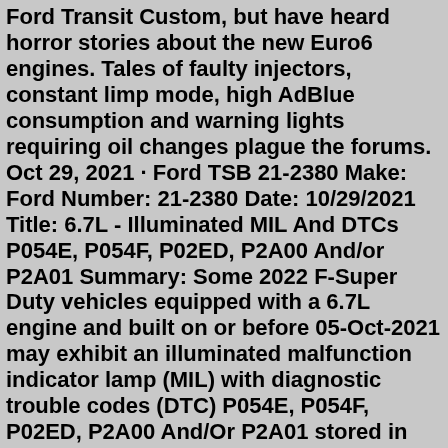Ford Transit Custom, but have heard horror stories about the new Euro6 engines. Tales of faulty injectors, constant limp mode, high AdBlue consumption and warning lights requiring oil changes plague the forums. Oct 29, 2021 · Ford TSB 21-2380 Make: Ford Number: 21-2380 Date: 10/29/2021 Title: 6.7L - Illuminated MIL And DTCs P054E, P054F, P02ED, P2A00 And/or P2A01 Summary: Some 2022 F-Super Duty vehicles equipped with a 6.7L engine and built on or before 05-Oct-2021 may exhibit an illuminated malfunction indicator lamp (MIL) with diagnostic trouble codes (DTC) P054E, P054F, P02ED, P2A00 And/Or P2A01 stored in the ... HomeFord Ford Select Your Ford's Diagnostic Trouble Code Body Codes. B103B; B103C Ford Motor Company Limited uses cookies and similar technologies on this website to improve your online experience and to show tailored advertising to you. Manage Agree You can manage cookies at any time on the Manage Cookie Settings page but this may limit or prevent use of certain